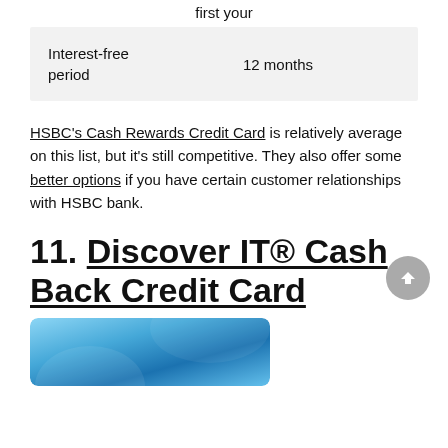first your
| Interest-free period | 12 months |
HSBC's Cash Rewards Credit Card is relatively average on this list, but it's still competitive. They also offer some better options if you have certain customer relationships with HSBC bank.
11. Discover IT® Cash Back Credit Card
[Figure (photo): Discover IT Cash Back credit card image in blue]